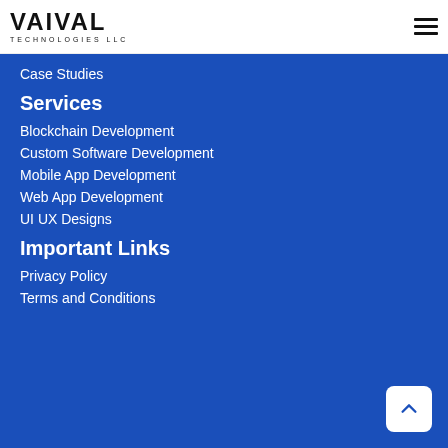[Figure (logo): VAIVAL TECHNOLOGIES LLC logo in black text on white header]
Case Studies
Services
Blockchain Development
Custom Software Development
Mobile App Development
Web App Development
UI UX Designs
Important Links
Privacy Policy
Terms and Conditions